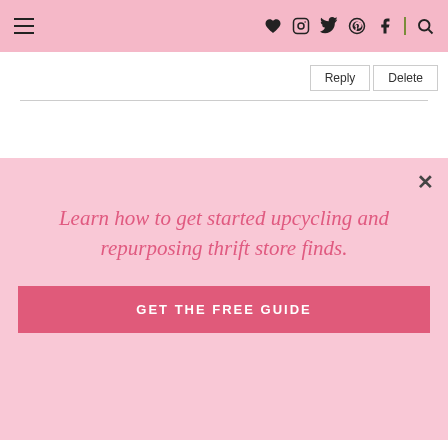≡  ♥ Instagram Twitter Pinterest Facebook | Search
Reply   Delete
[Figure (screenshot): Pink modal popup with close button (×), italic pink heading 'Learn how to get started upcycling and repurposing thrift store finds.', and a pink 'GET THE FREE GUIDE' button]
mostly neutrals as that seems to be what